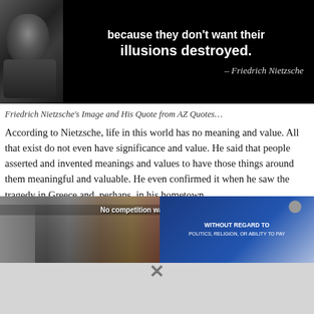[Figure (photo): Black and white photo of Friedrich Nietzsche with a quote overlay: '...because they don't want their illusions destroyed.' attributed to Friedrich Nietzsche, on a black background]
Friedrich Nietzsche's Image and His Quote from AZ Quotes…
According to Nietzsche, life in this world has no meaning and value. All that exist do not even have significance and value. He said that people asserted and invented meanings and values to have those things around them meaningful and valuable. He even confirmed it when he saw the tragedy in Greece and, perhaps, in his hometown,
[Figure (photo): Advertisement overlay showing an airplane being loaded with cargo, partially overlaying the article text. Contains text 'No competition' and Southwest Airlines branding with 'WITHOUT REGARD TO POLITICS, RELIGION, OR ABILITY TO PAY'. An X close button is visible.]